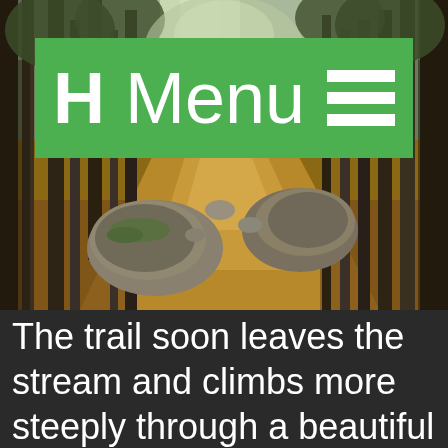[Figure (photo): A forest hiking trail with large boulders, rocky dirt path winding through birch and deciduous trees, autumn leaf litter on ground, green foliage in background. A green navigation bar with 'H Menu' text and hamburger icon overlaid at the top.]
The trail soon leaves the stream and climbs more steeply through a beautiful hardwood forest until the first opening. Near the bottom of the Abol